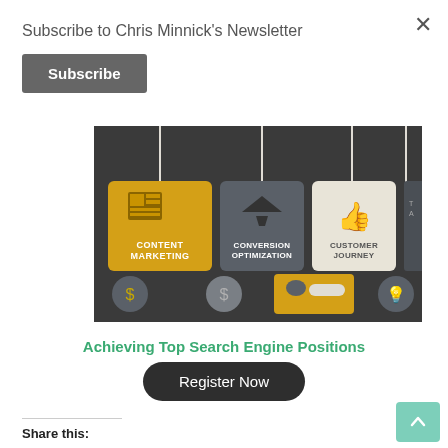Subscribe to Chris Minnick's Newsletter
Subscribe
[Figure (infographic): Marketing infographic banner showing tag-shaped tiles with icons and labels: Content Marketing (orange), Conversion Optimization (dark gray), Customer Journey (light/cream), and a partially visible fourth tile. The tiles hang from white strings/lines against a dark background. Bottom row shows circular icons including dollar signs and a chat bubble with a button.]
Achieving Top Search Engine Positions
Register Now
Share this: